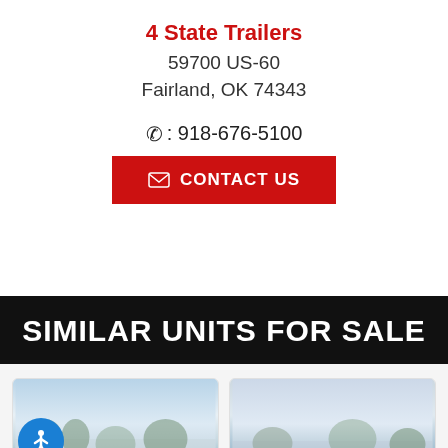4 State Trailers
59700 US-60
Fairland, OK 74343
📞: 918-676-5100
✉ CONTACT US
SIMILAR UNITS FOR SALE
[Figure (photo): Partial view of two trailer listing cards with snowy outdoor background images, and an accessibility icon button in blue circle on the left card.]